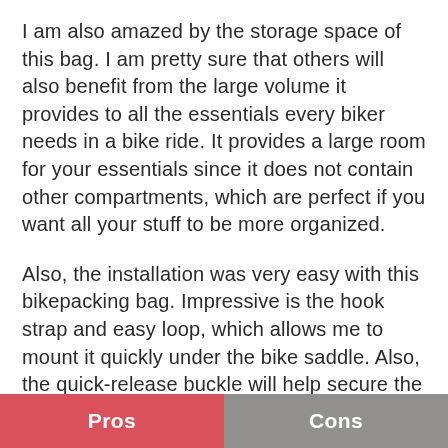I am also amazed by the storage space of this bag. I am pretty sure that others will also benefit from the large volume it provides to all the essentials every biker needs in a bike ride. It provides a large room for your essentials since it does not contain other compartments, which are perfect if you want all your stuff to be more organized.
Also, the installation was very easy with this bikepacking bag. Impressive is the hook strap and easy loop, which allows me to mount it quickly under the bike saddle. Also, the quick-release buckle will help secure the bag once it is mounted on your bike.
| Pros | Cons |
| --- | --- |